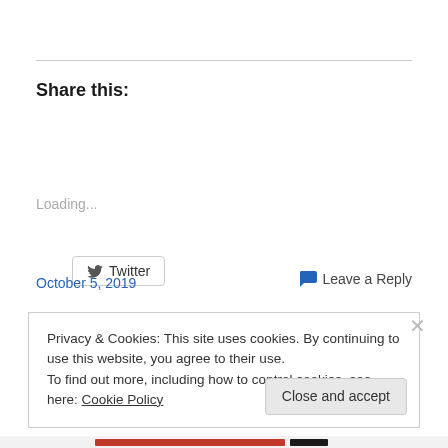Share this:
[Figure (other): Twitter share button with bird icon]
Loading...
October 5, 2019
Leave a Reply
Privacy & Cookies: This site uses cookies. By continuing to use this website, you agree to their use.
To find out more, including how to control cookies, see here: Cookie Policy
Close and accept